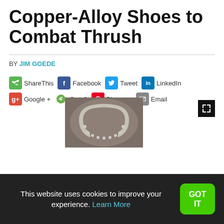Copper-Alloy Shoes to Combat Thrush
BY JIM GOEDE
ShareThis  Facebook  Tweet  LinkedIn  Google +  Care2  Pinterest  Email
[Figure (photo): A copper-alloy horseshoe photographed against a dark background]
This website uses cookies to improve your experience. Learn More  GOT IT